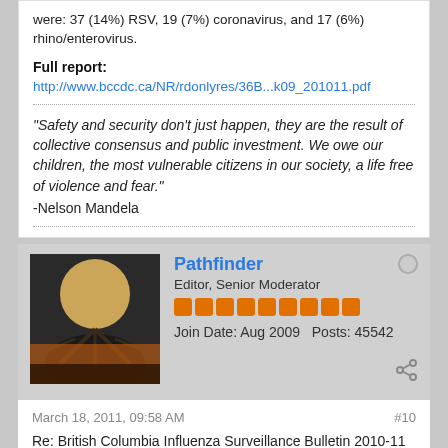were: 37 (14%) RSV, 19 (7%) coronavirus, and 17 (6%) rhino/enterovirus.
Full report:
http://www.bccdc.ca/NR/rdonlyres/36B...k09_201011.pdf
"Safety and security don't just happen, they are the result of collective consensus and public investment. We owe our children, the most vulnerable citizens in our society, a life free of violence and fear."
-Nelson Mandela
Pathfinder
Editor, Senior Moderator
Join Date: Aug 2009  Posts: 45542
March 18, 2011, 09:58 AM
#10
Re: British Columbia Influenza Surveillance Bulletin 2010-11 Week 10
BRITISH COLUMBIA INFLUENZA SURVEILLANCE BULLETIN 2010-11: Number 17, Week 10 March 6 to March 12, 2011
Continued Elevated Influenza Activity in BC